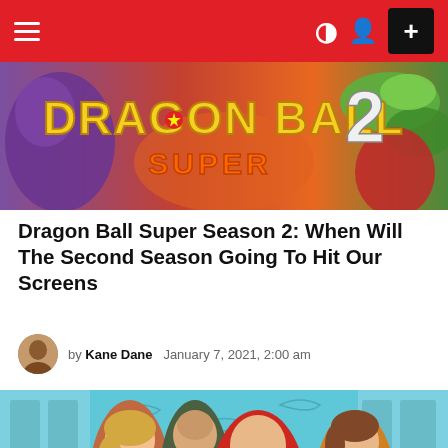Navigation bar with hamburger menu, dark mode icon, profile icon, and + button
[Figure (illustration): Dragon Ball Super Season 2 promotional banner with colorful anime-style artwork showing characters and the text 'Dragon Ball Super 2']
Dragon Ball Super Season 2: When Will The Second Season Going To Hit Our Screens
by Kane Dane  January 7, 2021, 2:00 am
[Figure (photo): Four people standing in front of illustrated school lockers on a light blue background — a woman with blonde hair, a tall man, a young man in a red hoodie in the center, and a young woman in a yellow top]